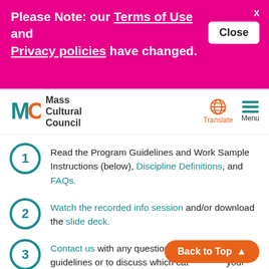Please Note: our Terms of Use and Privacy policies have changed.
Mass Cultural Council — Translate / Menu
1. Read the Program Guidelines and Work Sample Instructions (below), Discipline Definitions, and FAQs.
2. Watch the recorded info session and/or download the slide deck.
3. Contact us with any questions about the guidelines or to discuss which category fits your work best.